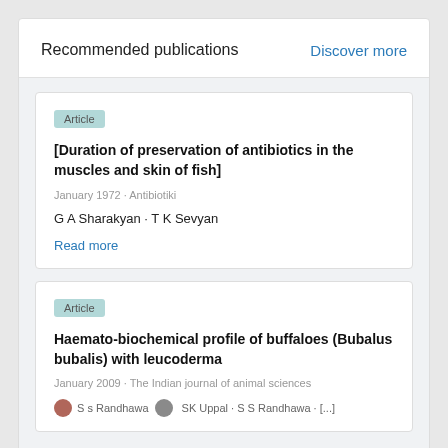Recommended publications
Discover more
Article
[Duration of preservation of antibiotics in the muscles and skin of fish]
January 1972 · Antibiotiki
G A Sharakyan · T K Sevyan
Read more
Article
Haemato-biochemical profile of buffaloes (Bubalus bubalis) with leucoderma
January 2009 · The Indian journal of animal sciences
S s Randhawa · SK Uppal · S S Randhawa · [...]